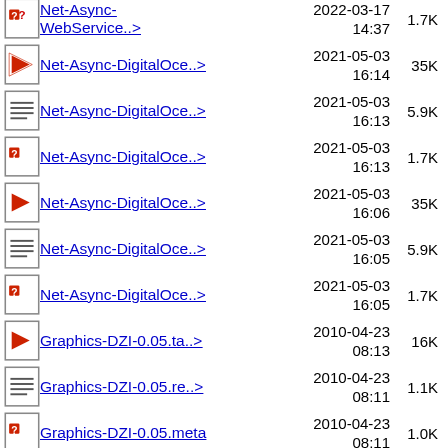Net-Async-WebService..> 2022-03-17 14:37 1.7K
Net-Async-DigitalOce..> 2021-05-03 16:14 35K
Net-Async-DigitalOce..> 2021-05-03 16:13 5.9K
Net-Async-DigitalOce..> 2021-05-03 16:13 1.7K
Net-Async-DigitalOce..> 2021-05-03 16:06 35K
Net-Async-DigitalOce..> 2021-05-03 16:05 5.9K
Net-Async-DigitalOce..> 2021-05-03 16:05 1.7K
Graphics-DZI-0.05.ta..> 2010-04-23 08:13 16K
Graphics-DZI-0.05.re..> 2010-04-23 08:11 1.1K
Graphics-DZI-0.05.meta 2010-04-23 08:11 1.0K
Graphics-DZI-0.04.ta..> 2010-03-18 15:40 15K